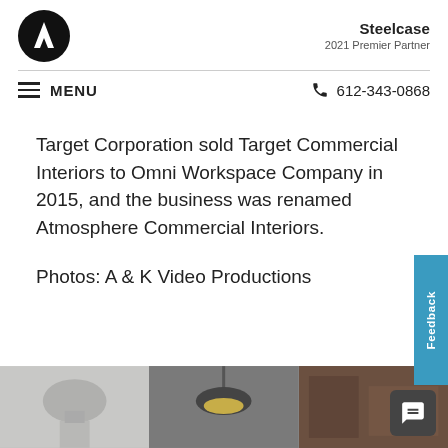[Figure (logo): Atmosphere Commercial Interiors logo — white letter A on black circle]
[Figure (logo): Steelcase 2021 Premier Partner badge]
MENU
612-343-0868
Target Corporation sold Target Commercial Interiors to Omni Workspace Company in 2015, and the business was renamed Atmosphere Commercial Interiors.
Photos: A & K Video Productions
[Figure (photo): Bottom strip photos: building dome, pendant lamp, interior detail]
[Figure (screenshot): Feedback tab (teal, vertical text) on right edge; chat button (dark) bottom right]